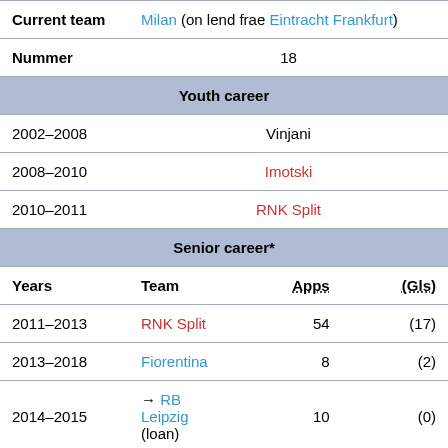| Current team |  |  |
| --- | --- | --- |
| Current team | Milan (on lend frae Eintracht Frankfurt) |  |
| Nummer | 18 |  |
| Youth career |  |  |
| 2002–2008 | Vinjani |  |
| 2008–2010 | Imotski |  |
| 2010–2011 | RNK Split |  |
| Senior career* |  |  |
| Years | Team | Apps (Gls) |
| 2011–2013 | RNK Split | 54 (17) |
| 2013–2018 | Fiorentina | 8 (2) |
| 2014–2015 | → RB Leipzig (loan) | 10 (0) |
| 2016 | → Hellas Verona (loan) | 10 (0) |
| 2016–2018 | → Eintracht Frankfurt (loan) | 49 (8) |
| 2019 | Eintracht Frankfurt | 20 (0) |